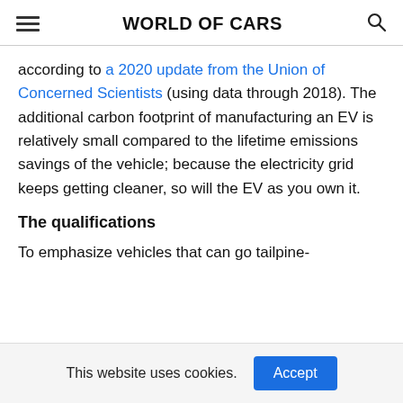WORLD OF CARS
according to a 2020 update from the Union of Concerned Scientists (using data through 2018). The additional carbon footprint of manufacturing an EV is relatively small compared to the lifetime emissions savings of the vehicle; because the electricity grid keeps getting cleaner, so will the EV as you own it.
The qualifications
To emphasize vehicles that can go tailpipe-
This website uses cookies.
Accept